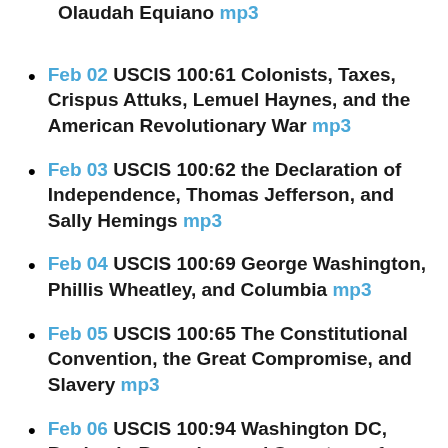Olaudah Equiano mp3
Feb 02 USCIS 100:61 Colonists, Taxes, Crispus Attuks, Lemuel Haynes, and the American Revolutionary War mp3
Feb 03 USCIS 100:62 the Declaration of Independence, Thomas Jefferson, and Sally Hemings mp3
Feb 04 USCIS 100:69 George Washington, Phillis Wheatley, and Columbia mp3
Feb 05 USCIS 100:65 The Constitutional Convention, the Great Compromise, and Slavery mp3
Feb 06 USCIS 100:94 Washington DC, Benjamin Banneker, and Secretary of State Thomas Jefferson mp3